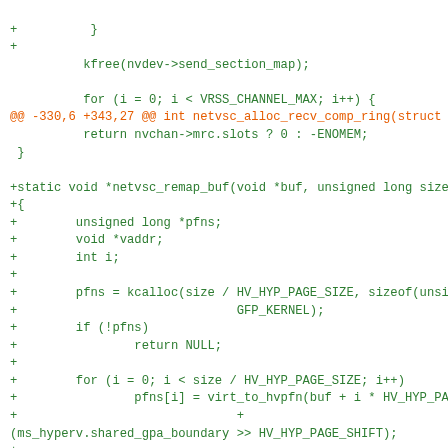Code diff showing netvsc driver changes including netvsc_remap_buf function addition